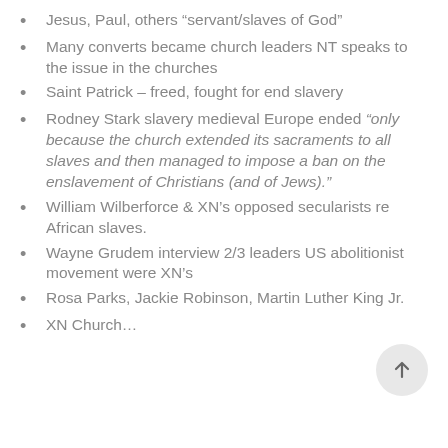Jesus, Paul, others “servant/slaves of God”
Many converts became church leaders NT speaks to the issue in the churches
Saint Patrick – freed, fought for end slavery
Rodney Stark slavery medieval Europe ended “only because the church extended its sacraments to all slaves and then managed to impose a ban on the enslavement of Christians (and of Jews).”
William Wilberforce & XN’s opposed secularists re African slaves.
Wayne Grudem interview 2/3 leaders US abolitionist movement were XN’s
Rosa Parks, Jackie Robinson, Martin Luther King Jr.
XN Church…